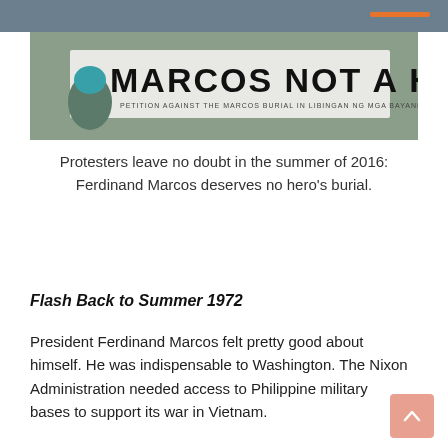[Figure (photo): Protest banner reading 'MARCOS NOT A HERO' with protesters visible]
Protesters leave no doubt in the summer of 2016: Ferdinand Marcos deserves no hero's burial.
Flash Back to Summer 1972
President Ferdinand Marcos felt pretty good about himself. He was indispensable to Washington. The Nixon Administration needed access to Philippine military bases to support its war in Vietnam.